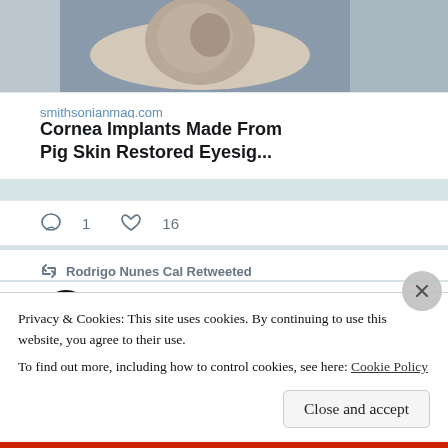[Figure (photo): Photograph of a person lying down being examined, medical/dental context, people in white coats]
smithsonianmag.com
Cornea Implants Made From Pig Skin Restored Eyesig...
1 comment, 16 likes
Rodrigo Nunes Cal Retweeted
Nature... @... · Aug 25
Replying to @NatureBiotech
Privacy & Cookies: This site uses cookies. By continuing to use this website, you agree to their use.
To find out more, including how to control cookies, see here: Cookie Policy
Close and accept